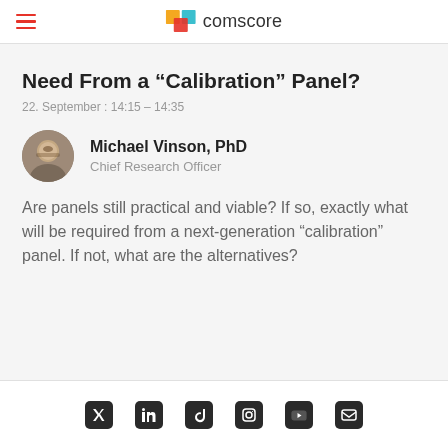comscore
Need From a “Calibration” Panel?
22. September : 14:15 - 14:35
Michael Vinson, PhD
Chief Research Officer
Are panels still practical and viable?  If so, exactly what will be required from a next-generation “calibration” panel. If not, what are the alternatives?
Social media icons: Twitter, LinkedIn, TikTok, Instagram, YouTube, Email